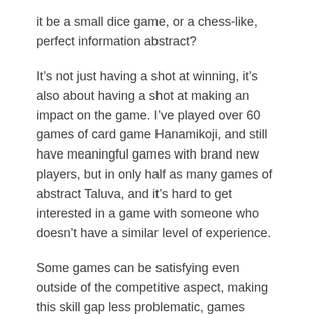it be a small dice game, or a chess-like, perfect information abstract?
It’s not just having a shot at winning, it’s also about having a shot at making an impact on the game. I’ve played over 60 games of card game Hanamikoji, and still have meaningful games with brand new players, but in only half as many games of abstract Taluva, and it’s hard to get interested in a game with someone who doesn’t have a similar level of experience.
Some games can be satisfying even outside of the competitive aspect, making this skill gap less problematic, games where you can build something or pull off some cool combos. Still, randomness is what allows players of various skill levels to have the experience together without one ruining it for the